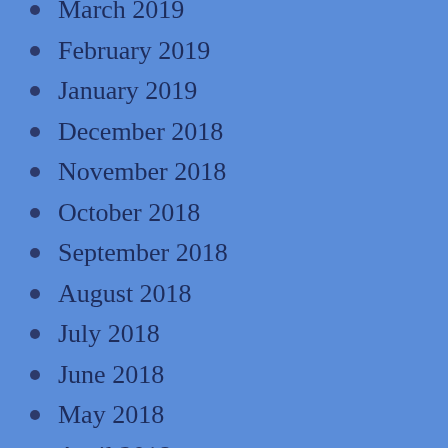March 2019
February 2019
January 2019
December 2018
November 2018
October 2018
September 2018
August 2018
July 2018
June 2018
May 2018
April 2018
March 2018
February 2018
January 2018
December 2017
November 2017